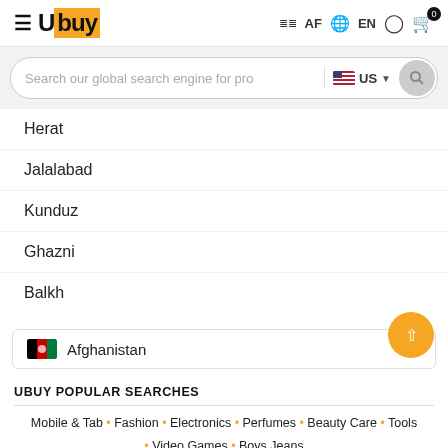Ubuy — AF EN, cart 0
Search our global search engine for pro — US
Herat
Jalalabad
Kunduz
Ghazni
Balkh
Afghanistan
UBUY POPULAR SEARCHES
Mobile & Tab • Fashion • Electronics • Perfumes • Beauty Care • Tools • Video Games • Boys Jeans